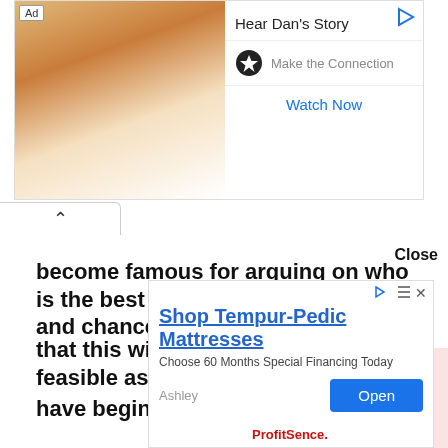[Figure (screenshot): Advertisement banner: 'Hear Dan's Story' with man painting outdoors image, star logo 'Make the Connection', and 'Watch Now' link]
become famous for arguing on who is the best among both superstars and chances
that this will come to an end in not feasible as some top stars
have begin to choose side.
[Figure (screenshot): Advertisement: 'Shop Tempur-Pedic Mattresses - Choose 60 Months Special Financing Today' by Ashley with Open button]
Close
ProfitSence.